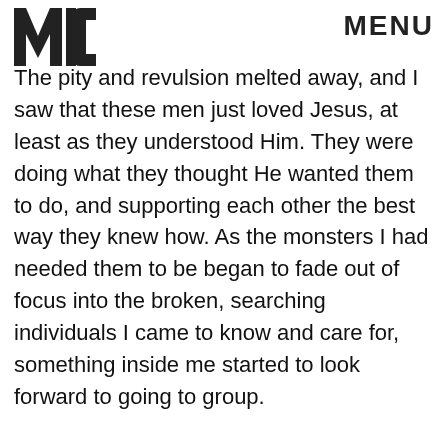[Figure (logo): MIC logo — bold block letters M, I, C in dark gray]
MENU
The pity and revulsion melted away, and I saw that these men just loved Jesus, at least as they understood Him. They were doing what they thought He wanted them to do, and supporting each other the best way they knew how. As the monsters I had needed them to be began to fade out of focus into the broken, searching individuals I came to know and care for, something inside me started to look forward to going to group.
Then one day I logged into Auggie's Gmail account to write our group leader a message, only to find an email from him with the subject line, "Hello Drew."